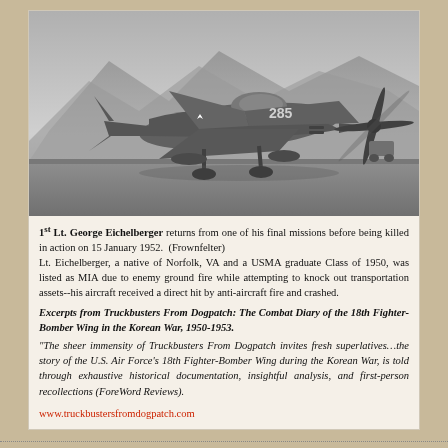[Figure (photo): Black and white photograph of a WWII/Korean War era fighter aircraft (P-51 Mustang type) on a runway with mountains in the background. The aircraft bears US military markings.]
1st Lt. George Eichelberger returns from one of his final missions before being killed in action on 15 January 1952. (Frownfelter)
Lt. Eichelberger, a native of Norfolk, VA and a USMA graduate Class of 1950, was listed as MIA due to enemy ground fire while attempting to knock out transportation assets--his aircraft received a direct hit by anti-aircraft fire and crashed.
Excerpts from Truckbusters From Dogpatch: The Combat Diary of the 18th Fighter-Bomber Wing in the Korean War, 1950-1953.
"The sheer immensity of Truckbusters From Dogpatch invites fresh superlatives...the story of the U.S. Air Force's 18th Fighter-Bomber Wing during the Korean War, is told through exhaustive historical documentation, insightful analysis, and first-person recollections (ForeWord Reviews).
www.truckbustersfromdogpatch.com